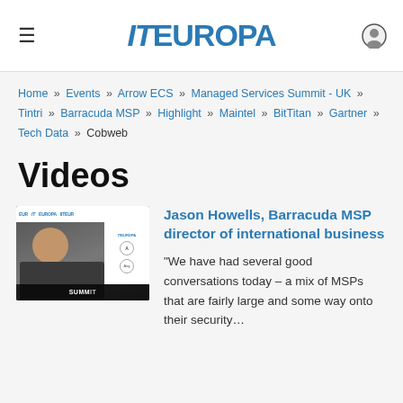IT EUROPA
Home » Events » Arrow ECS » Managed Services Summit - UK » Tintri » Barracuda MSP » Highlight » Maintel » BitTitan » Gartner » Tech Data » Cobweb
Videos
[Figure (photo): Video thumbnail showing a man in a suit speaking at an IT Europa conference with summit banners in the background]
Jason Howells, Barracuda MSP director of international business
“We have had several good conversations today – a mix of MSPs that are fairly large and some way onto their security…